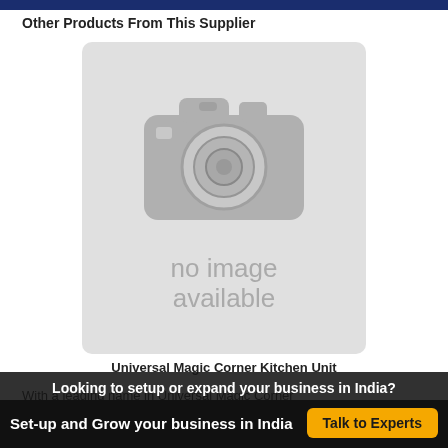Other Products From This Supplier
[Figure (photo): Placeholder image showing a grey camera icon with text 'no image available' beneath it]
Universal Magic Corner Kitchen Unit
With a leading name in Universal Magic Corner
Looking to setup or expand your business in India?
Set-up and Grow your business in India
Talk to Experts